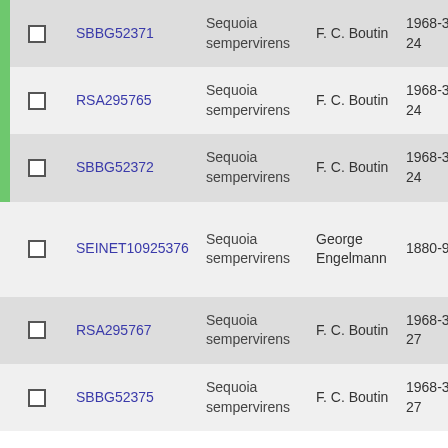|  | ID | Species | Collector | Date |  |
| --- | --- | --- | --- | --- | --- |
| ☐ | SBBG52371 | Sequoia sempervirens | F. C. Boutin | 1968-3-24 | 1… |
| ☐ | RSA295765 | Sequoia sempervirens | F. C. Boutin | 1968-3-24 | 1… |
| ☐ | SBBG52372 | Sequoia sempervirens | F. C. Boutin | 1968-3-24 | 1… |
| ☐ | SEINET10925376 | Sequoia sempervirens | George Engelmann | 1880-9-8 | E… 1… |
| ☐ | RSA295767 | Sequoia sempervirens | F. C. Boutin | 1968-3-27 | 1… |
| ☐ | SBBG52375 | Sequoia sempervirens | F. C. Boutin | 1968-3-27 | 1… |